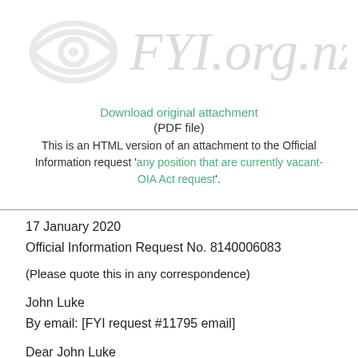[Figure (logo): FYI.org.nz watermark logo with eye icon and italic text]
Download original attachment
(PDF file)
This is an HTML version of an attachment to the Official Information request 'any position that are currently vacant-OIA Act request'.
17 January 2020
Official Information Request No. 8140006083
(Please quote this in any correspondence)
John Luke
By email: [FYI request #11795 email]
Dear John Luke